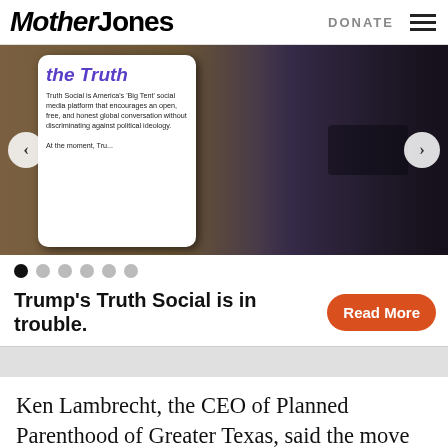Mother Jones | DONATE
[Figure (photo): Carousel image showing a phone displaying the Truth Social app interface with purple italic text 'the Truth' and description text, alongside a photo of a man speaking at a microphone. Left and right navigation arrows visible.]
Trump's Truth Social is in trouble.
Read More
Ken Lambrecht, the CEO of Planned Parenthood of Greater Texas, said the move was “unprecedented.”
“We will make every effort to comply with the state’s